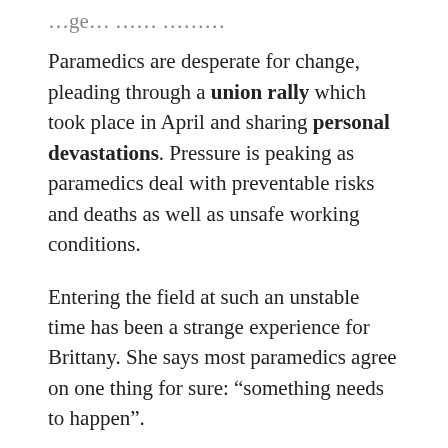Paramedics are desperate for change, pleading through a union rally which took place in April and sharing personal devastations. Pressure is peaking as paramedics deal with preventable risks and deaths as well as unsafe working conditions.
Entering the field at such an unstable time has been a strange experience for Brittany. She says most paramedics agree on one thing for sure: “something needs to happen”.
She says it’s scary knowing there are jobs in the community just waiting for an ambulance to